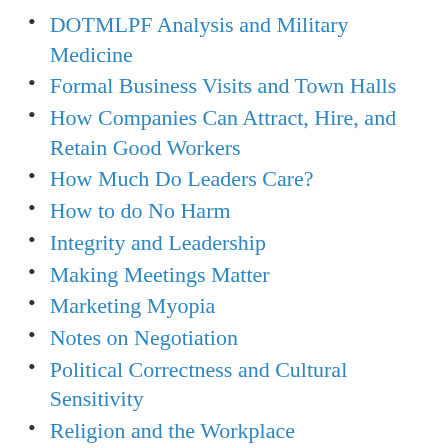DOTMLPF Analysis and Military Medicine
Formal Business Visits and Town Halls
How Companies Can Attract, Hire, and Retain Good Workers
How Much Do Leaders Care?
How to do No Harm
Integrity and Leadership
Making Meetings Matter
Marketing Myopia
Notes on Negotiation
Political Correctness and Cultural Sensitivity
Religion and the Workplace
Taking Intelligence Threats Seriously
The Dance of the Headquarters
The Informative Brief